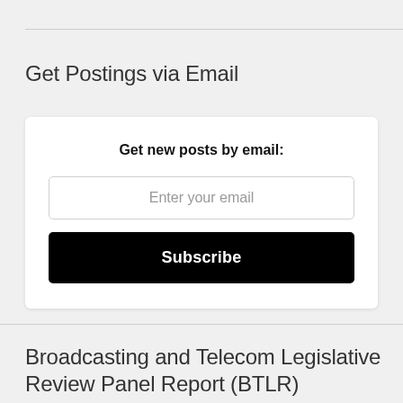Get Postings via Email
Get new posts by email:
Enter your email
Subscribe
Broadcasting and Telecom Legislative Review Panel Report (BTLR)